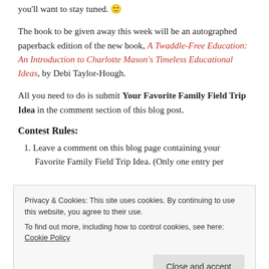you'll want to stay tuned. 🙂
The book to be given away this week will be an autographed paperback edition of the new book, A Twaddle-Free Education: An Introduction to Charlotte Mason's Timeless Educational Ideas, by Debi Taylor-Hough.
All you need to do is submit Your Favorite Family Field Trip Idea in the comment section of this blog post.
Contest Rules:
1. Leave a comment on this blog page containing your Favorite Family Field Trip Idea. (Only one entry per
Privacy & Cookies: This site uses cookies. By continuing to use this website, you agree to their use. To find out more, including how to control cookies, see here: Cookie Policy
the winner. (The prize will be sent via snail mail, so when I